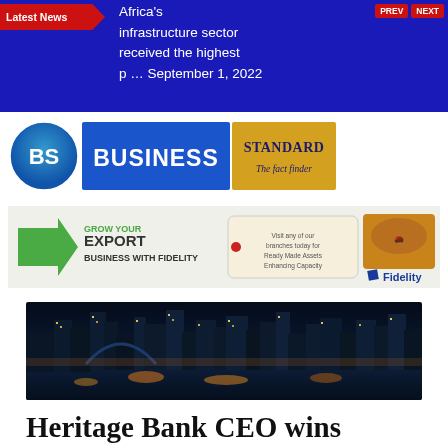Latest News — Africa's infrastructure sector received the highest p … September 1, 2022
[Figure (logo): Business Standard logo — BS circular icon with 'BUSINESS STANDARD The fact finder' text on gold/yellow background]
[Figure (infographic): Fidelity Bank advertisement: GROW YOUR EXPORT BUSINESS WITH FIDELITY, with nuts/chocolate imagery and Fidelity logo]
[Figure (photo): Night cityscape photo showing illuminated waterfront skyline, likely Lagos]
Heritage Bank CEO wins